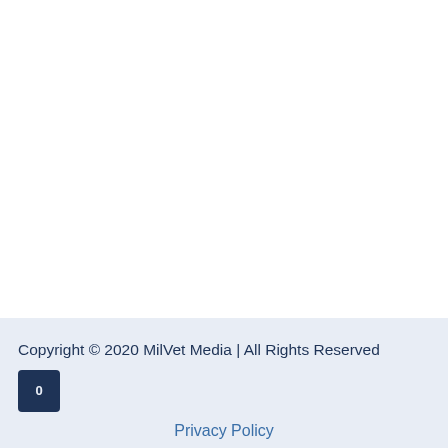Copyright © 2020 MilVet Media | All Rights Reserved
Privacy Policy